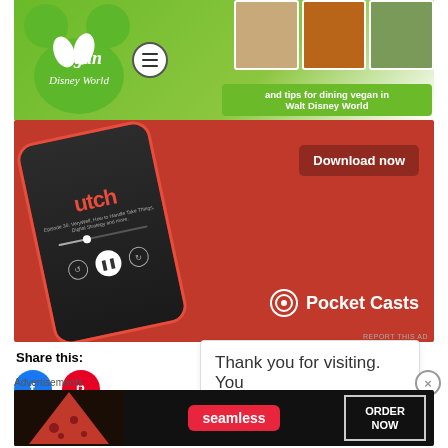[Figure (screenshot): Vegan Disney World website banner with green Mickey Mouse logo, food photos, and tagline 'and tips for dining vegan in Walt Disney World']
[Figure (screenshot): Pocket Casts app advertisement on red background with phone displaying podcast app and 'Download now' button]
REPORT THIS AD
Share this:
[Figure (illustration): Facebook share button (blue circle with F icon) and Pinterest share button (red circle with P icon)]
Thank you for visiting. You
Advertisements
[Figure (screenshot): Seamless food delivery advertisement with pizza image, seamless red logo pill, and ORDER NOW button]